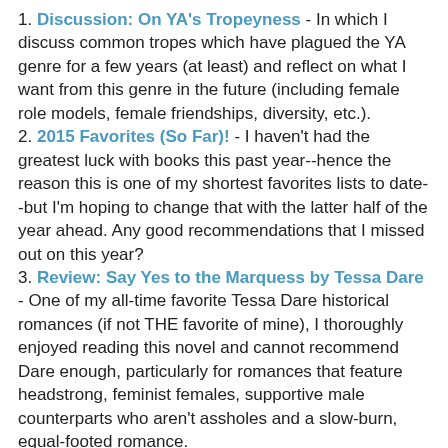1. Discussion: On YA's Tropeyness - In which I discuss common tropes which have plagued the YA genre for a few years (at least) and reflect on what I want from this genre in the future (including female role models, female friendships, diversity, etc.).
2. 2015 Favorites (So Far)! - I haven't had the greatest luck with books this past year--hence the reason this is one of my shortest favorites lists to date--but I'm hoping to change that with the latter half of the year ahead. Any good recommendations that I missed out on this year?
3. Review: Say Yes to the Marquess by Tessa Dare - One of my all-time favorite Tessa Dare historical romances (if not THE favorite of mine), I thoroughly enjoyed reading this novel and cannot recommend Dare enough, particularly for romances that feature headstrong, feminist females, supportive male counterparts who aren't assholes and a slow-burn, equal-footed romance.
Post I Wish Got a Little More Love